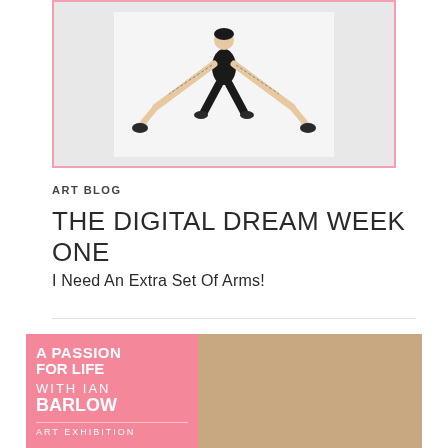[Figure (illustration): Illustration of an acrobatic or dance figure in black outfit, viewed from above/inverted, arms outstretched, within a pink-bordered white frame]
ART BLOG
THE DIGITAL DREAM WEEK ONE
I Need An Extra Set Of Arms!
[Figure (photo): Art exhibition promotional image: left half has pink background with bold white text reading 'A PASSION FOR LIFE WITH IAN BARLOW ART EXHIBITION'; right half shows a photographic figure seated near white railings/balustrade]